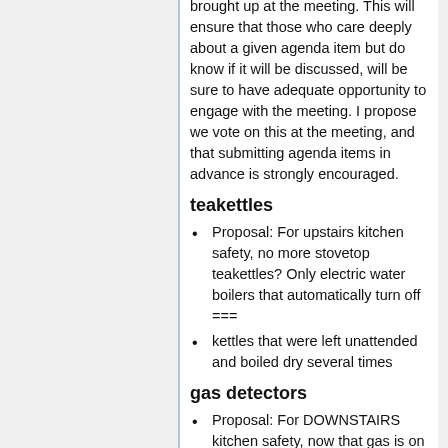brought up at the meeting. This will ensure that those who care deeply about a given agenda item but do know if it will be discussed, will be sure to have adequate opportunity to engage with the meeting. I propose we vote on this at the meeting, and that submitting agenda items in advance is strongly encouraged.
teakettles
Proposal: For upstairs kitchen safety, no more stovetop teakettles? Only electric water boilers that automatically turn off ===
kettles that were left unattended and boiled dry several times
gas detectors
Proposal: For DOWNSTAIRS kitchen safety, now that gas is on and stove